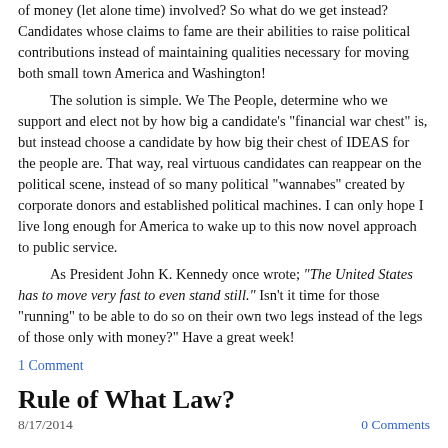of money (let alone time) involved?  So what do we get instead?  Candidates whose claims to fame are their abilities to raise political contributions instead of maintaining qualities necessary for moving both small town America and Washington!
The solution is simple.  We The People, determine who we support and elect not by how big a candidate's "financial war chest" is, but instead choose a candidate by how big their chest of IDEAS for the people are.  That way, real virtuous candidates can reappear on the political scene, instead of so many political "wannabes" created by corporate donors and established political machines.  I can only hope I live long enough for America to wake up to this now novel approach to public service.
As President John K. Kennedy once wrote; "The United States has to move very fast to even stand still."  Isn't it time for those "running" to be able to do so on their own two legs instead of the legs of those only with money?"  Have a great week!
1 Comment
Rule of What Law?
8/17/2014    0 Comments